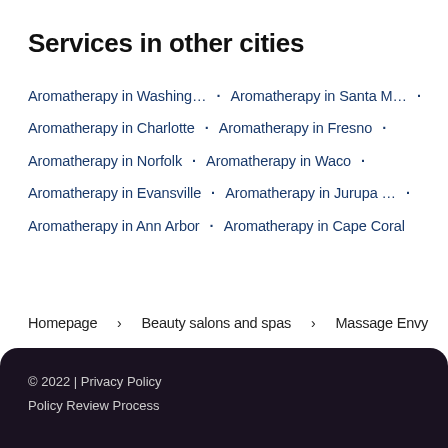Services in other cities
Aromatherapy in Washing… · Aromatherapy in Santa M… ·
Aromatherapy in Charlotte · Aromatherapy in Fresno ·
Aromatherapy in Norfolk · Aromatherapy in Waco ·
Aromatherapy in Evansville · Aromatherapy in Jurupa … ·
Aromatherapy in Ann Arbor · Aromatherapy in Cape Coral
Homepage  >  Beauty salons and spas  >  Massage Envy
© 2022 | Privacy Policy
Policy Review Process